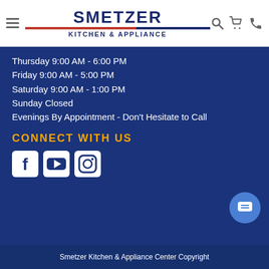Smetzer Kitchen & Appliance
Thursday 9:00 AM - 6:00 PM
Friday 9:00 AM - 5:00 PM
Saturday 9:00 AM - 1:00 PM
Sunday Closed
Evenings By Appointment - Don't Hesitate to Call
CONNECT WITH US
[Figure (other): Social media icons: Facebook, YouTube, Instagram]
Smetzer Kitchen & Appliance Center Copyright